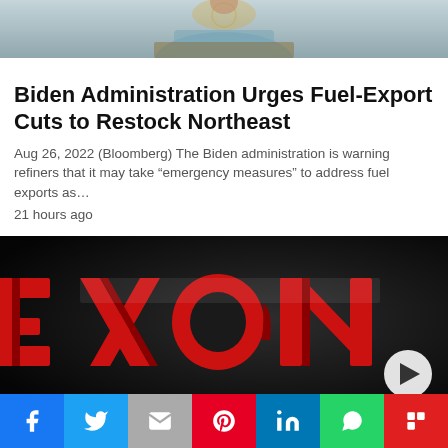[Figure (photo): Person standing at a presidential podium, partial view]
Biden Administration Urges Fuel-Export Cuts to Restock Northeast
Aug 26, 2022 (Bloomberg) The Biden administration is warning refiners that it may take “emergency measures” to address fuel exports as…
21 hours ago
[Figure (photo): Exxon logo sign illuminated in red on dark background with play button overlay]
Página traducible | 中文翻译 | Página traduzível | صفحة قابلة للترجمة
Share buttons: Facebook, Twitter, Email, Pinterest, LinkedIn, WhatsApp, Flipboard